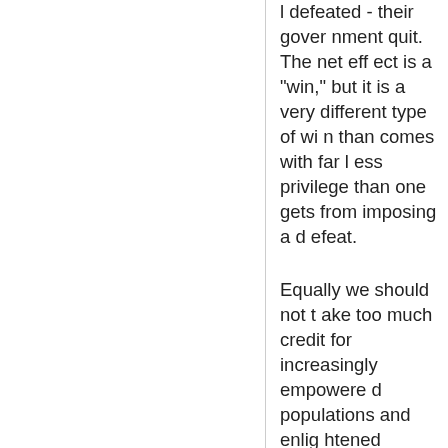l defeated - their government quit. The net effect is a "win," but it is a very different type of win than comes with far less privilege than one gets from imposing a defeat.
Equally we should not take too much credit for increasingly empowered populations and enlightened societies turning to some variation of democracy.
We're not a bad nation - but we've allowed our fears, our pride, and our confusion over what